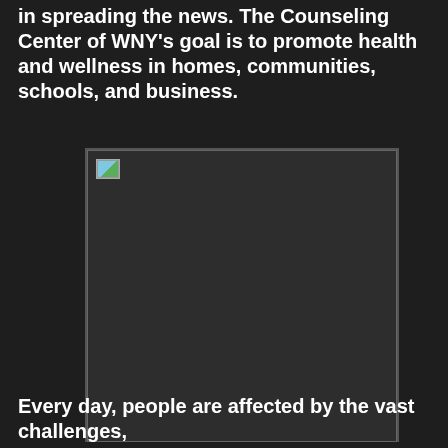in spreading the news. The Counseling Center of WNY's goal is to promote health and wellness in homes, communities, schools, and business.
[Figure (photo): A photo placeholder (broken image) showing a partially loaded image thumbnail in the upper-left corner against a dark background.]
Every day, people are affected by the vast challenges,